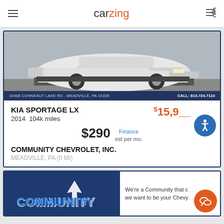carzing
[Figure (photo): White Kia Sportage LX SUV parked in a dealership lot, dealer bar shows address 16408 CONNEAUT LAKE RD., MEADVILLE, PA 16335 and CALL: 814.724.7110]
KIA SPORTAGE LX
2014  104k miles
$15,9__
$290 Finance est per mo.
COMMUNITY CHEVROLET, INC.
MEADVILLE, PA (0 mi)
[Figure (photo): Community Chevrolet dealership photo with blue logo and text: We're a Community that c... we want to be your Chevy...]